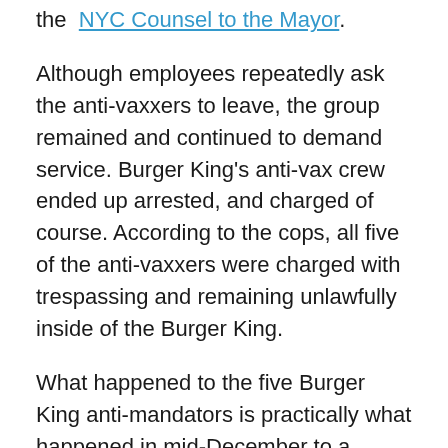the NYC Counsel to the Mayor.
Although employees repeatedly ask the anti-vaxxers to leave, the group remained and continued to demand service. Burger King's anti-vax crew ended up arrested, and charged of course. According to the cops, all five of the anti-vaxxers were charged with trespassing and remaining unlawfully inside of the Burger King.
What happened to the five Burger King anti-mandators is practically what happened in mid-December to a group of about 50 anti-vaxxers that decided to storm into a Cheesecake Factory in Queens. Each time an anti-vax group tries to take a stance and break the law in the name of protest they end up arrested.
At what point does fighting for what you believe to be